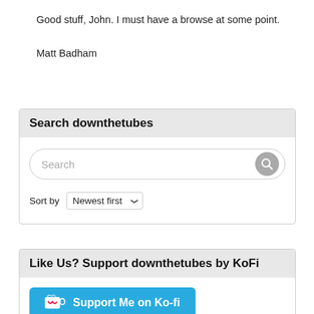Good stuff, John. I must have a browse at some point.
Matt Badham
Search downthetubes
Search
Sort by Newest first
Like Us? Support downthetubes by KoFi
Support Me on Ko-fi